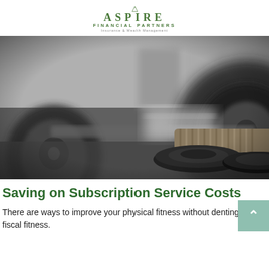ASPIRE FINANCIAL PARTNERS | Insurance & Wealth Management
[Figure (photo): Black and white photograph of a gym floor showing barbells, weight plates, and a barbell handle resting on the ground in the foreground with blurred equipment in the background.]
Saving on Subscription Service Costs
There are ways to improve your physical fitness without denting your fiscal fitness.